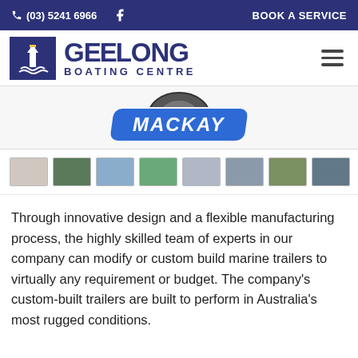(03) 5241 6966  BOOK A SERVICE
[Figure (logo): Geelong Boating Centre logo with lighthouse icon and navigation bar]
[Figure (logo): Mackay brand logo in blue badge with italic text on dark background]
[Figure (photo): Strip of 8 thumbnail images of marine trailers and boats]
Through innovative design and a flexible manufacturing process, the highly skilled team of experts in our company can modify or custom build marine trailers to virtually any requirement or budget. The company's custom-built trailers are built to perform in Australia's most rugged conditions.